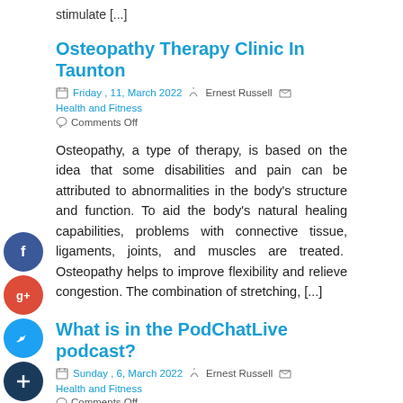stimulate [...]
Osteopathy Therapy Clinic In Taunton
Friday , 11, March 2022   Ernest Russell   Health and Fitness   Comments Off
Osteopathy, a type of therapy, is based on the idea that some disabilities and pain can be attributed to abnormalities in the body's structure and function. To aid the body's natural healing capabilities, problems with connective tissue, ligaments, joints, and muscles are treated. Osteopathy helps to improve flexibility and relieve congestion. The combination of stretching, [...]
What is in the PodChatLive podcast?
Sunday , 6, March 2022   Ernest Russell   Health and Fitness   Comments Off